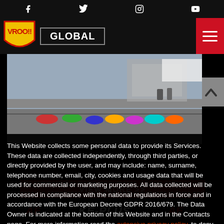Social media icons: Facebook, Twitter, Instagram, YouTube
[Figure (logo): VROO!! logo shield (yellow/red) and GLOBAL navigation bar with hamburger menu]
[Figure (photo): Karting race on track with multiple go-karts lined up and racing, stands and barriers visible in background]
This Website collects some personal data to provide its Services. These data are collected independently, through third parties, or directly provided by the user, and may include: name, surname, telephone number, email, city, cookies and usage data that will be used for commercial or marketing purposes. All data collected will be processed in compliance with the national regulations in force and in accordance with the European Decree GDPR 2016/679. The Data Owner is indicated at the bottom of this Website and in the Contacts page. For more information read the extensive privacy policy, to deny consent in whole or in part click "COOKIE PREFERENCES". COOKIE PREFERENCES
[Figure (screenshot): Bottom brand strip showing AE and KE-PLUS logos on dark background]